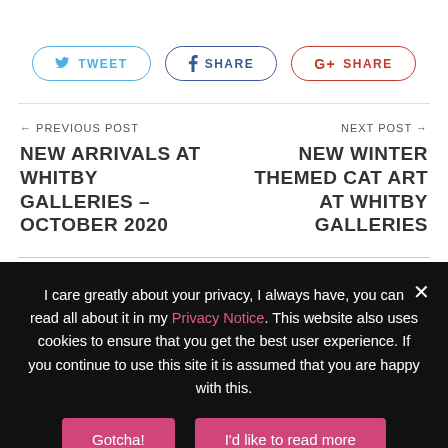[Figure (other): Social share buttons: Tweet (Twitter), Share (Facebook), Share (Google+)]
← PREVIOUS POST
NEW ARRIVALS AT WHITBY GALLERIES – OCTOBER 2020
NEXT POST →
NEW WINTER THEMED CAT ART AT WHITBY GALLERIES
I care greatly about your privacy, I always have, you can read all about it in my Privacy Notice. This website also uses cookies to ensure that you get the best user experience. If you continue to use this site it is assumed that you are happy with this.
Gotcha!
I'd like to read more